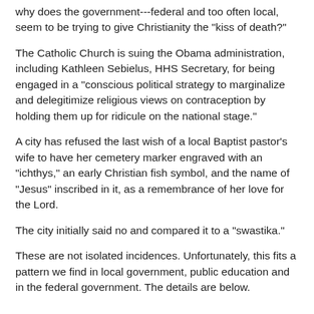why does the government---federal and too often local, seem to be trying to give Christianity the "kiss of death?"
The Catholic Church is suing the Obama administration, including Kathleen Sebielus, HHS Secretary, for being engaged in a "conscious political strategy to marginalize and delegitimize religious views on contraception by holding them up for ridicule on the national stage."
A city has refused the last wish of a local Baptist pastor's wife to have her cemetery marker engraved with an "ichthys," an early Christian fish symbol, and the name of "Jesus" inscribed in it, as a remembrance of her love for the Lord.
The city initially said no and compared it to a "swastika."
These are not isolated incidences. Unfortunately, this fits a pattern we find in local government, public education and in the federal government. The details are below.